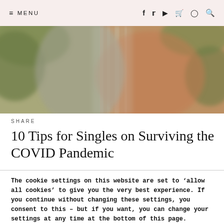≡ MENU | f  🐦  ▶  🛍  📷  🔍
[Figure (photo): Blurred outdoor photo showing greenery and what appears to be a glass surface or architectural element with warm earth tones in the background.]
SHARE
10 Tips for Singles on Surviving the COVID Pandemic
The cookie settings on this website are set to 'allow all cookies' to give you the very best experience. If you continue without changing these settings, you consent to this – but if you want, you can change your settings at any time at the bottom of this page. settings.
Accept